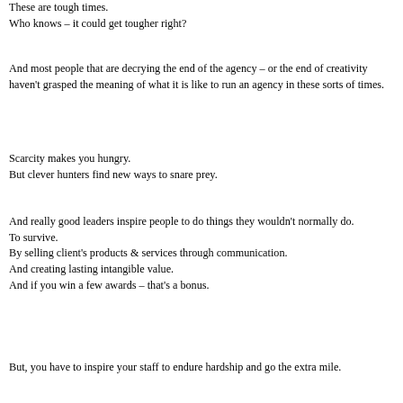These are tough times.
Who knows – it could get tougher right?
And most people that are decrying the end of the agency – or the end of creativity haven't grasped the meaning of what it is like to run an agency in these sorts of times.
Scarcity makes you hungry.
But clever hunters find new ways to snare prey.
And really good leaders inspire people to do things they wouldn't normally do.
To survive.
By selling client's products & services through communication.
And creating lasting intangible value.
And if you win a few awards – that's a bonus.
But, you have to inspire your staff to endure hardship and go the extra mile.